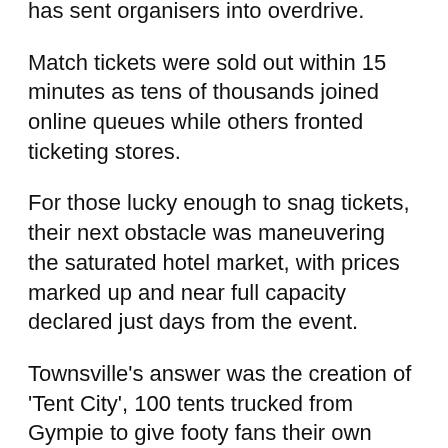has sent organisers into overdrive.
Match tickets were sold out within 15 minutes as tens of thousands joined online queues while others fronted ticketing stores.
For those lucky enough to snag tickets, their next obstacle was maneuvering the saturated hotel market, with prices marked up and near full capacity declared just days from the event.
Townsville's answer was the creation of 'Tent City', 100 tents trucked from Gympie to give footy fans their own base south of the CBD to stay during Origin.
Since launching last Friday afternoon, the improvised accommodation has received a number of bookings and more than 7000 visits to the booking page, Townsville Enterprise says.
Fans staying at the temporary site will be provided transport to and from the game, 24-hour security